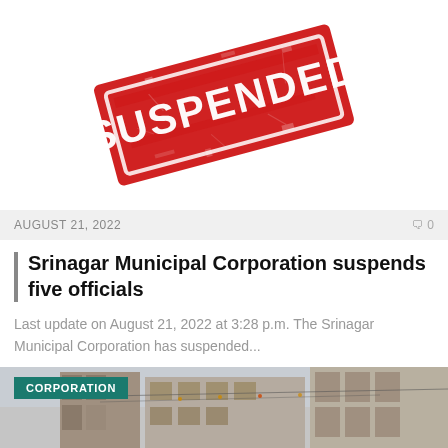[Figure (illustration): Red rubber stamp reading SUSPENDED in white bold letters on a tilted rectangle with distressed texture]
AUGUST 21, 2022                               0
Srinagar Municipal Corporation suspends five officials
Last update on August 21, 2022 at 3:28 p.m. The Srinagar Municipal Corporation has suspended...
[Figure (photo): Photo of a street scene with buildings and decorations, with a CORPORATION category tag overlaid in the top-left corner]